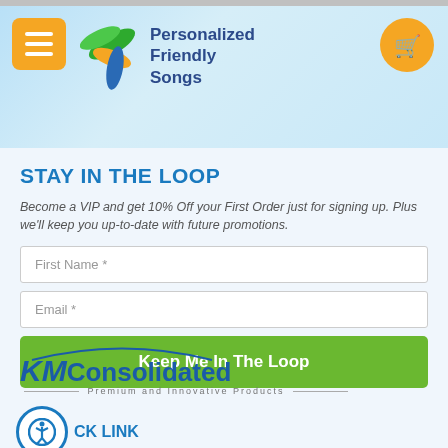Personalized Friendly Songs
STAY IN THE LOOP
Become a VIP and get 10% Off your First Order just for signing up. Plus we'll keep you up-to-date with future promotions.
[Figure (logo): KMConsolidated - Premium and Innovative Products logo]
CK LINK